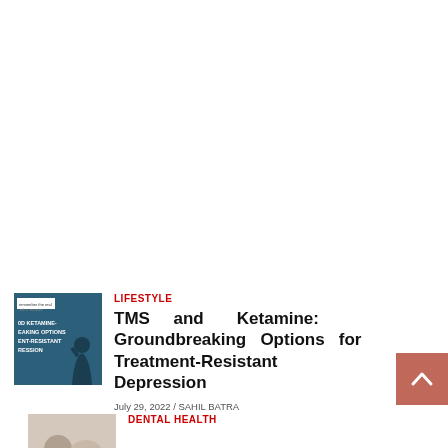[Figure (photo): Thumbnail image for TMS and Ketamine article showing a silhouetted person with head in hands on a blue background with text overlay]
LIFESTYLE
TMS and Ketamine: Groundbreaking Options for Treatment-Resistant Depression
July 29, 2022 / SAHIL BATRA
[Figure (photo): Partial thumbnail image for Dental Health article]
DENTAL HEALTH